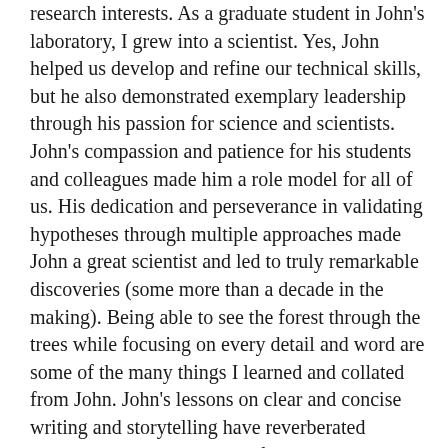research interests. As a graduate student in John's laboratory, I grew into a scientist. Yes, John helped us develop and refine our technical skills, but he also demonstrated exemplary leadership through his passion for science and scientists. John's compassion and patience for his students and colleagues made him a role model for all of us. His dedication and perseverance in validating hypotheses through multiple approaches made John a great scientist and led to truly remarkable discoveries (some more than a decade in the making). Being able to see the forest through the trees while focusing on every detail and word are some of the many things I learned and collated from John. John's lessons on clear and concise writing and storytelling have reverberated throughout my career: identifying key questions and thinking ahead to the final experiment needed to wrap up a story, and of course the importance of having a denouement. As scientists, we can strive to emulate John; however, the day I found myself wearing gold-toe socks with Birkenstocks, I realized John had influenced more than just my career.